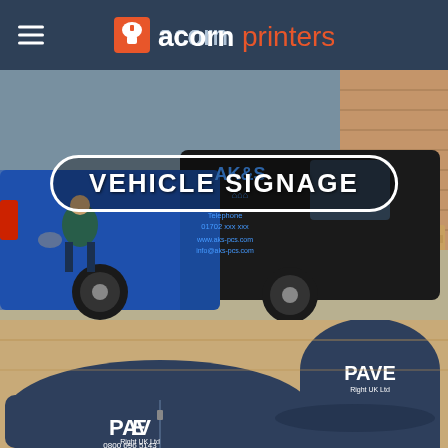acornprinters
[Figure (photo): Blue branded van with AK&S vehicle signage wrap, showing a person cleaning the vehicle. Text on van: AK&S, Telephone 01702 xxx xxx, www.aks-pcs.com, info@aks-pcs.com]
VEHICLE SIGNAGE
[Figure (photo): Navy blue branded clothing items including a jacket and cap with PAVE Right UK Ltd logo. Text visible: PAVE, Right UK Ltd, 0800 696 5143]